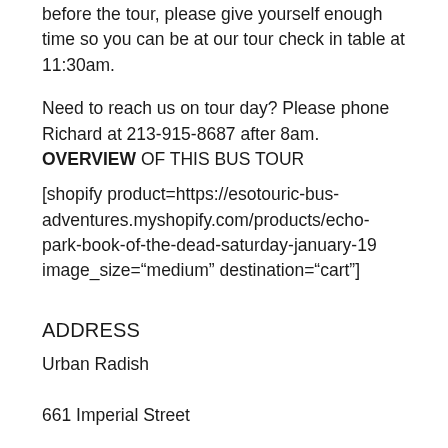before the tour, please give yourself enough time so you can be at our tour check in table at 11:30am.
Need to reach us on tour day? Please phone Richard at 213-915-8687 after 8am.
OVERVIEW OF THIS BUS TOUR
[shopify product=https://esotouric-bus-adventures.myshopify.com/products/echo-park-book-of-the-dead-saturday-january-19 image_size="medium" destination="cart"]
ADDRESS
Urban Radish
661 Imperial Street